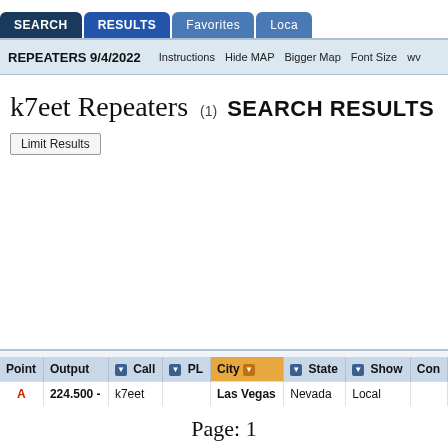SEARCH | RESULTS | Favorites | Loca
REPEATERS 9/4/2022  Instructions  Hide MAP  Bigger Map  Font Size  wv
k7eet Repeaters (1) SEARCH RESULTS
| Point | Output | Call | PL | City | State | Show | Con |
| --- | --- | --- | --- | --- | --- | --- | --- |
| A | 224.500 - | k7eet |  | Las Vegas | Nevada | Local |  |
Page: 1